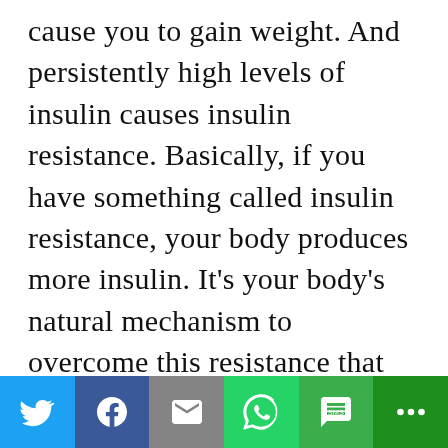cause you to gain weight. And persistently high levels of insulin causes insulin resistance. Basically, if you have something called insulin resistance, your body produces more insulin. It's your body's natural mechanism to overcome this resistance that you've created from eating too much insulin stimulating foods. It actually produces more insulin. And that's bad news because insulin resistance opens up pandora's box to all types of disease including diabetes and obesity.
[Figure (other): Social media share bar with icons for Twitter, Facebook, Email, WhatsApp, SMS, and More]